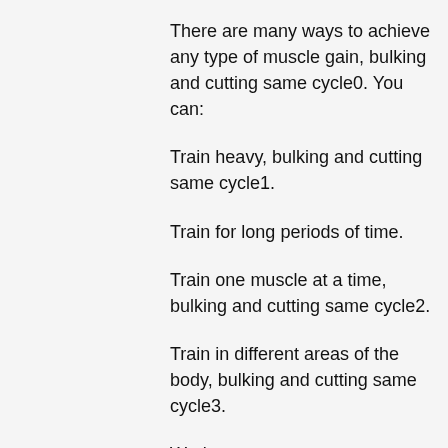There are many ways to achieve any type of muscle gain, bulking and cutting same cycle0. You can:
Train heavy, bulking and cutting same cycle1.
Train for long periods of time.
Train one muscle at a time, bulking and cutting same cycle2.
Train in different areas of the body, bulking and cutting same cycle3.
Workouts:
If you decide to go with a workout program, make sure to pick a weight that will not be too challenging.
Bulking x cutting